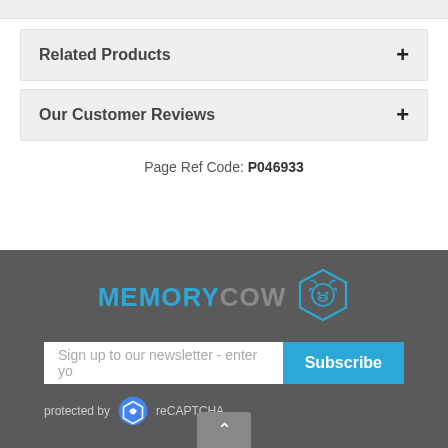Related Products
Our Customer Reviews
Page Ref Code: P046933
[Figure (logo): MemoryCow logo with hexagon cow icon. MEMORY in blue, COW in gray, with a blue hexagonal cow face icon to the right.]
Sign up to our newsletter - enter yo
Subscribe
protected by reCAPTCHA